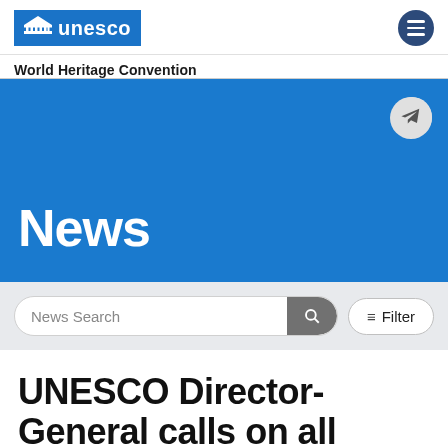UNESCO World Heritage Convention
News
News Search
≠ Filter
UNESCO Director-General calls on all